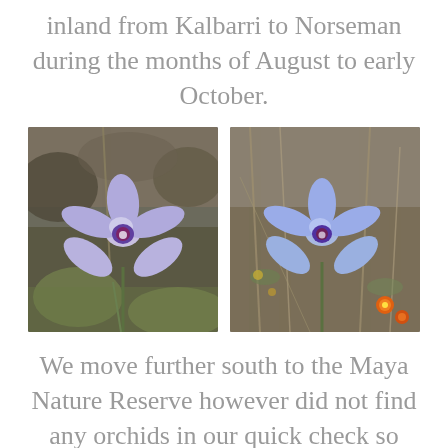inland from Kalbarri to Norseman during the months of August to early October.
[Figure (photo): Close-up photograph of a blue/purple orchid flower with purple center, on natural background with blurred foliage]
[Figure (photo): Close-up photograph of a blue/purple orchid flower with purple center, surrounded by small orange-yellow wildflowers and dry grasses]
We move further south to the Maya Nature Reserve however did not find any orchids in our quick check so moved onto the siding of Maya where we took the time to check on their historical display. The townsite was gazetted in 1913 and is now only a receival